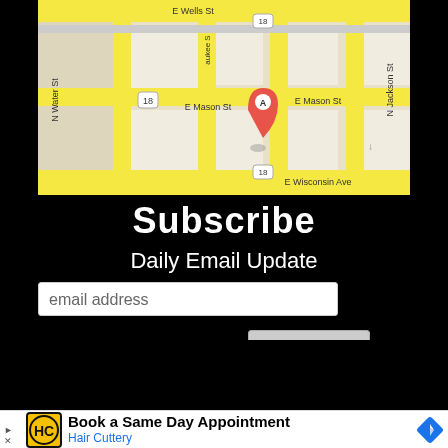[Figure (map): Google Maps screenshot showing downtown Milwaukee streets including E Wells St, E Mason St, E Wisconsin Ave, N Water St, N Jackson St, with route marker 18 and a red location pin labeled A]
Subscribe
Daily Email Update
email address
Subscribe
Take the next step, become a member.
[Figure (infographic): Advertisement: Hair Cuttery logo (HC in black circle on yellow background), text 'Book a Same Day Appointment', 'Hair Cuttery' in blue, blue diamond navigation icon on right]